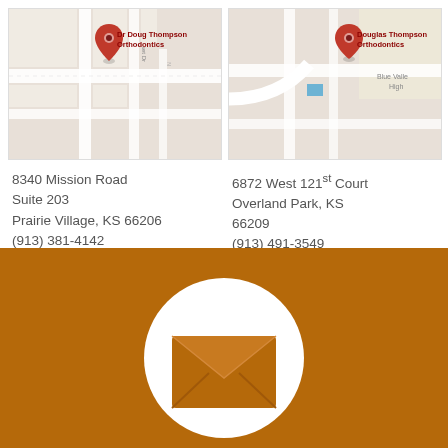[Figure (map): Google Maps screenshot showing location of Dr Doug Thompson Orthodontics in Prairie Village]
[Figure (map): Google Maps screenshot showing location of Douglas Thompson Orthodontics in Overland Park]
8340 Mission Road
Suite 203
Prairie Village, KS 66206
(913) 381-4142
6872 West 121st Court
Overland Park, KS
66209
(913) 491-3549
[Figure (illustration): White email/envelope icon inside a white circle on brown/orange background]